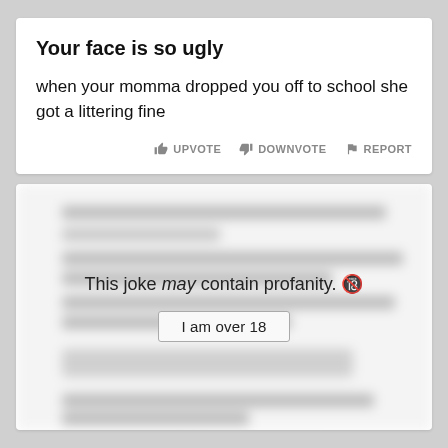Your face is so ugly
when your momma dropped you off to school she got a littering fine
👍 UPVOTE  👎 DOWNVOTE  🚩 REPORT
[Figure (screenshot): Blurred second joke card with profanity warning overlay]
This joke may contain profanity. 🔞
I am over 18